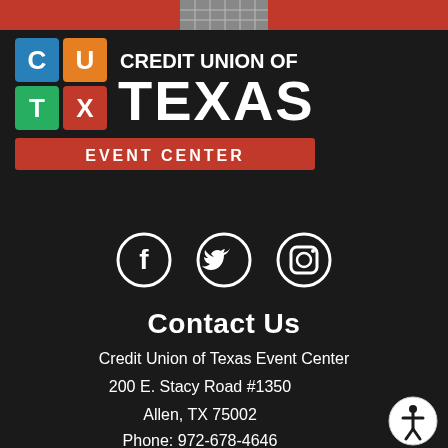[Figure (logo): Credit Union of Texas Event Center logo with colorful grid squares (C, U, T, X) and text on dark background with red banner reading EVENT CENTER]
[Figure (infographic): Social media icons: Facebook, Twitter, Instagram in white circles on dark background]
Contact Us
Credit Union of Texas Event Center
200 E. Stacy Road #1350
Allen, TX 75002
Phone: 972-678-4646